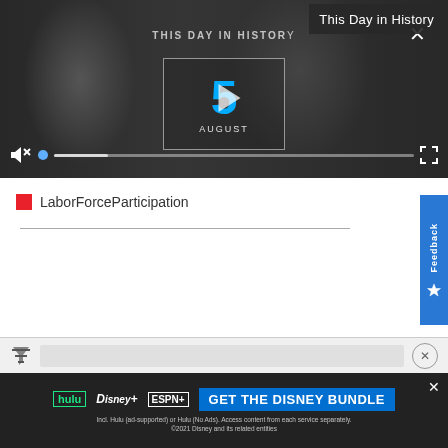[Figure (screenshot): Video player showing 'This Day in History' with a large blue number 5 and a play button icon, month label AUGUST below, video controls bar with mute icon and progress bar at bottom]
This Day in History
LaborForceParticipation
[Figure (other): Feedback tab on right side with star icon and vertical Feedback text]
[Figure (screenshot): Bottom filter/search bar with funnel icon and close circle]
[Figure (screenshot): Disney Bundle advertisement banner: hulu, Disney+, ESPN+ logos, GET THE DISNEY BUNDLE CTA, fine print about Hulu access and 2021 Disney]